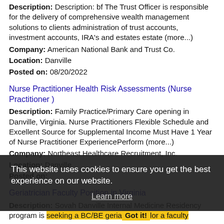Description: Description: bf The Trust Officer is responsible for the delivery of comprehensive wealth management solutions to clients administration of trust accounts, investment accounts, IRA's and estates estate (more...)
Company: American National Bank and Trust Co.
Location: Danville
Posted on: 08/20/2022
Nurse Practitioner Health Risk Assessments (Nurse Practitioner )
Description: Family Practice/Primary Care opening in Danville, Virginia. Nurse Practitioners Flexible Schedule and Excellent Source for Supplemental Income Must Have 1 Year of Nurse Practitioner ExperiencePerform (more...)
Company: Northeast Healthcare Recruitment, Inc.
Location: Danville
Posted on:
Geriatrician Faculty Position in Virginia
Description: Sovah Danville Internal Medicine Residency program is seeking a BC/BE geriatrician for a faculty
Company: LifePoint Health
Location: Danville
Posted on: 08/20/2022
This website uses cookies to ensure you get the best experience on our website. Learn more Got it!